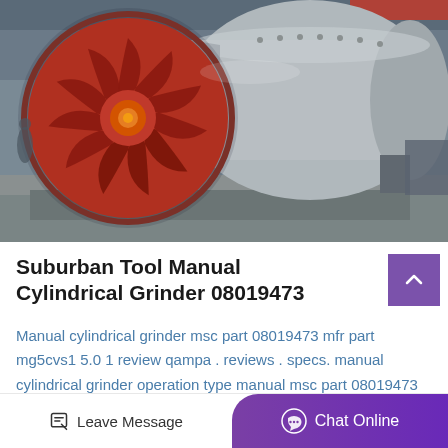[Figure (photo): Industrial photo of a large cylindrical grinder machine. On the left is a large red axial fan impeller with multiple blades visible from the front. On the right is a large grey cylindrical drum body. The equipment sits in what appears to be a factory or warehouse with a concrete floor and industrial overhead structures.]
Suburban Tool Manual Cylindrical Grinder 08019473
Manual cylindrical grinder msc part 08019473 mfr part mg5cvs1 5.0 1 review qampa . reviews . specs. manual cylindrical grinder operation type manual msc part 08019473 mfr part mg5cvs1 big bore over 1402 center for joining...